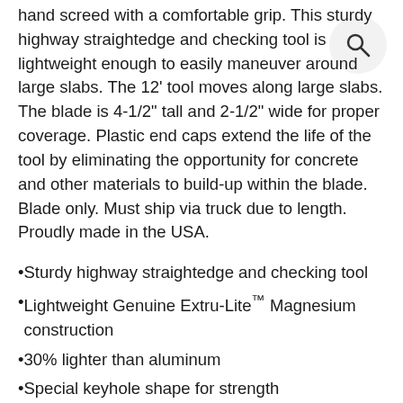hand screed with a comfortable grip. This sturdy highway straightedge and checking tool is lightweight enough to easily maneuver around large slabs. The 12' tool moves along large slabs. The blade is 4-1/2" tall and 2-1/2" wide for proper coverage. Plastic end caps extend the life of the tool by eliminating the opportunity for concrete and other materials to build-up within the blade. Blade only. Must ship via truck due to length. Proudly made in the USA.
Sturdy highway straightedge and checking tool
Lightweight Genuine Extru-Lite™ Magnesium construction
30% lighter than aluminum
Special keyhole shape for strength
Plugged ends eliminate build-up in tool
Blade only